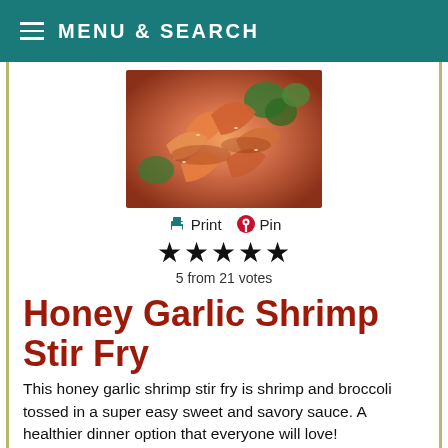MENU & SEARCH
[Figure (photo): Close-up photo of honey garlic shrimp stir fry with broccoli in a sweet and savory sauce]
Print  Pin
★★★★★
5 from 21 votes
Honey Garlic Shrimp Stir Fry
This honey garlic shrimp stir fry is shrimp and broccoli tossed in a super easy sweet and savory sauce. A healthier dinner option that everyone will love!
Course Main